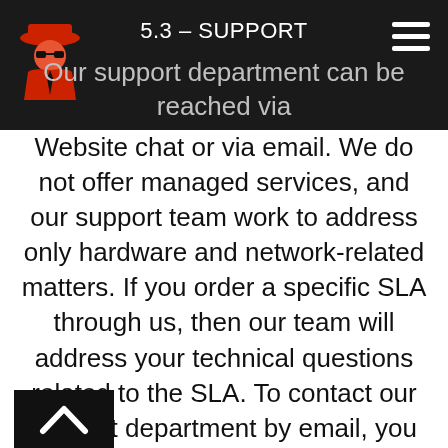5.3 – SUPPORT
Our support department can be reached via Website chat or via email. We do not offer managed services, and our support team work to address only hardware and network-related matters. If you order a specific SLA through us, then our team will address your technical questions related to the SLA. To contact our support department by email, you may fill in the contact form on our Website or send an email to Contact@spyvps.com. You can reach us 24 hours per day, 7 days a week, 365 days a year.